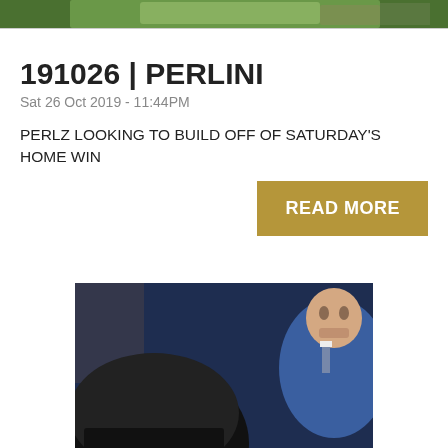[Figure (photo): Top partial image showing sports/hockey related scene with green and colorful background]
191026 | PERLINI
Sat 26 Oct 2019 - 11:44PM
PERLZ LOOKING TO BUILD OFF OF SATURDAY'S HOME WIN
READ MORE
[Figure (photo): Hockey coach in blue suit talking to player wearing helmet number 88 on the bench, arena crowd in background, Pepsi sign visible]